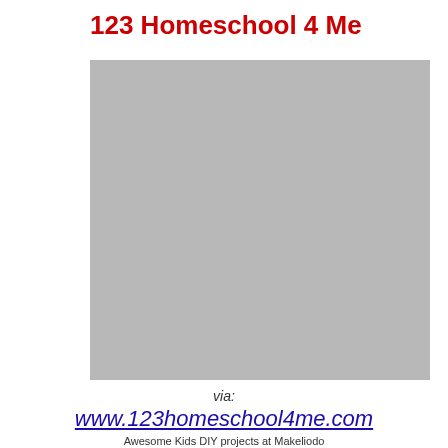123 Homeschool 4 Me
[Figure (photo): Gray placeholder image rectangle]
via:
www.123homeschool4me.com
Awesome Kids DIY projects at Makeliodo